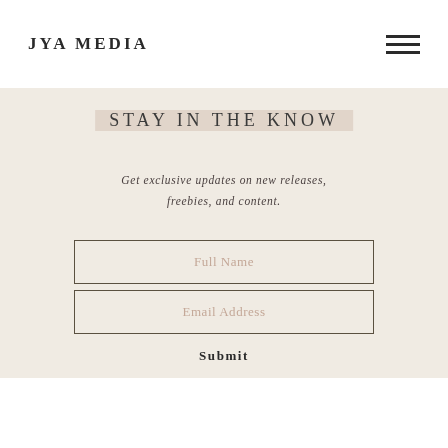JYA MEDIA
STAY IN THE KNOW
Get exclusive updates on new releases, freebies, and content.
Full Name
Email Address
Submit